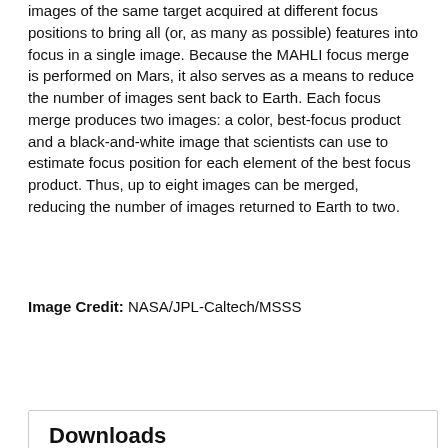images of the same target acquired at different focus positions to bring all (or, as many as possible) features into focus in a single image. Because the MAHLI focus merge is performed on Mars, it also serves as a means to reduce the number of images sent back to Earth. Each focus merge produces two images: a color, best-focus product and a black-and-white image that scientists can use to estimate focus position for each element of the best focus product. Thus, up to eight images can be merged, reducing the number of images returned to Earth to two.
Image Credit: NASA/JPL-Caltech/MSSS
[Figure (other): Red ENLARGE button]
Downloads
Sol 1605: Mars Hand Lens Imager (MAHLI)